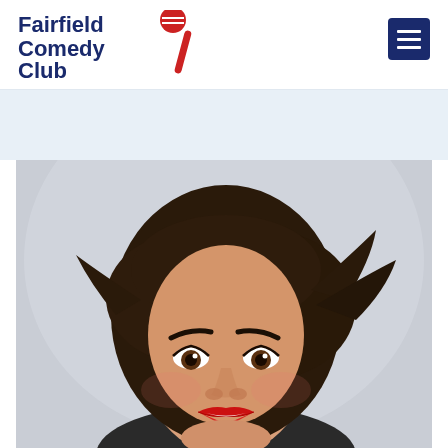[Figure (logo): Fairfield Comedy Club logo with microphone icon in red and dark navy text]
[Figure (other): Hamburger menu button, dark navy blue square with three white horizontal lines]
[Figure (photo): Headshot photo of a woman with dark wavy hair, red lipstick, smiling, on a light grey background]